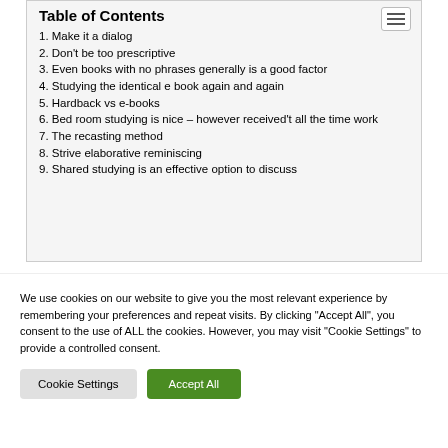Table of Contents
1. Make it a dialog
2. Don't be too prescriptive
3. Even books with no phrases generally is a good factor
4. Studying the identical e book again and again
5. Hardback vs e-books
6. Bed room studying is nice – however received't all the time work
7. The recasting method
8. Strive elaborative reminiscing
9. Shared studying is an effective option to discuss
We use cookies on our website to give you the most relevant experience by remembering your preferences and repeat visits. By clicking "Accept All", you consent to the use of ALL the cookies. However, you may visit "Cookie Settings" to provide a controlled consent.
Cookie Settings | Accept All